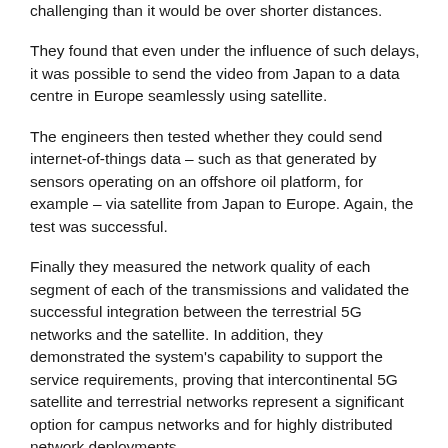challenging than it would be over shorter distances.
They found that even under the influence of such delays, it was possible to send the video from Japan to a data centre in Europe seamlessly using satellite.
The engineers then tested whether they could send internet-of-things data – such as that generated by sensors operating on an offshore oil platform, for example – via satellite from Japan to Europe. Again, the test was successful.
Finally they measured the network quality of each segment of each of the transmissions and validated the successful integration between the terrestrial 5G networks and the satellite. In addition, they demonstrated the system's capability to support the service requirements, proving that intercontinental 5G satellite and terrestrial networks represent a significant option for campus networks and for highly distributed network deployments.
The experiments took place in January and February 2022.
The tests form part of an ongoing agreement between ESA and the